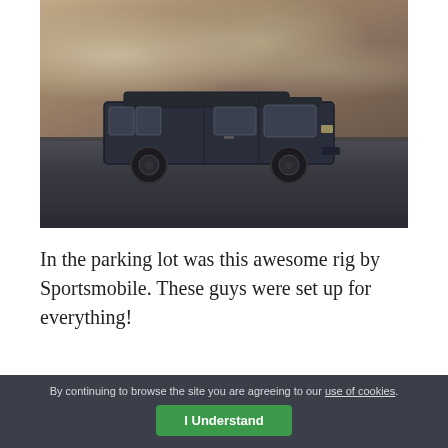[Figure (photo): A dark blue/grey Mercedes-Benz Sprinter van by Sportsmobile parked in a lot with a rocky cliff/mountain wall behind it. The van is viewed from the side. The setting appears to be a desert or arid mountainous area.]
In the parking lot was this awesome rig by Sportsmobile. These guys were set up for everything!
By continuing to browse the site you are agreeing to our use of cookies.
I Understand